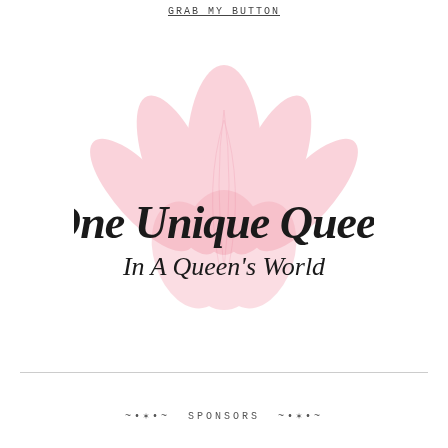GRAB MY BUTTON
[Figure (logo): One Unique Queen logo: pink lotus flower watermark behind decorative cursive black text reading 'One Unique Queen' with subtitle 'In A Queen's World']
~*~  SPONSORS  ~*~